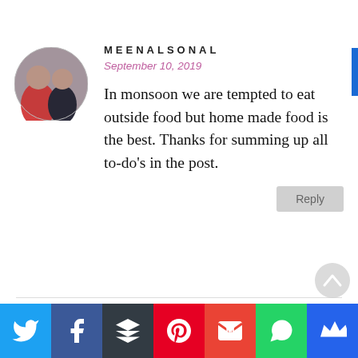[Figure (photo): Circular avatar photo of two people (appears to be a selfie), used as commenter profile picture]
MEENALSONAL
September 10, 2019
In monsoon we are tempted to eat outside food but home made food is the best. Thanks for summing up all to-do's in the post.
Reply
[Figure (photo): Partial circular orange avatar at bottom of page for second commenter NEHA]
NEHA
[Figure (infographic): Social share bar with icons: Twitter (blue), Facebook (dark blue), Buffer (dark), Pinterest (red), Gmail (red), WhatsApp (green), Crown/Bloglovin (blue)]